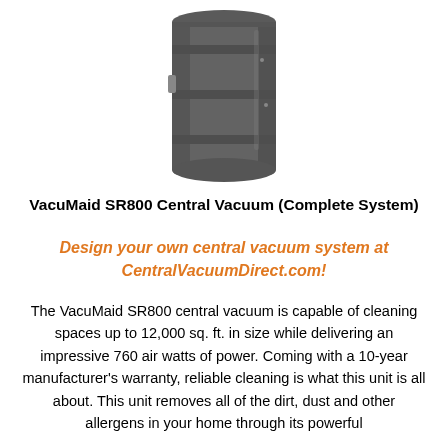[Figure (photo): VacuMaid SR800 central vacuum unit — a dark gray cylindrical canister with ribbed bands around the body, viewed from slightly above]
VacuMaid SR800 Central Vacuum (Complete System)
Design your own central vacuum system at CentralVacuumDirect.com!
The VacuMaid SR800 central vacuum is capable of cleaning spaces up to 12,000 sq. ft. in size while delivering an impressive 760 air watts of power. Coming with a 10-year manufacturer's warranty, reliable cleaning is what this unit is all about. This unit removes all of the dirt, dust and other allergens in your home through its powerful